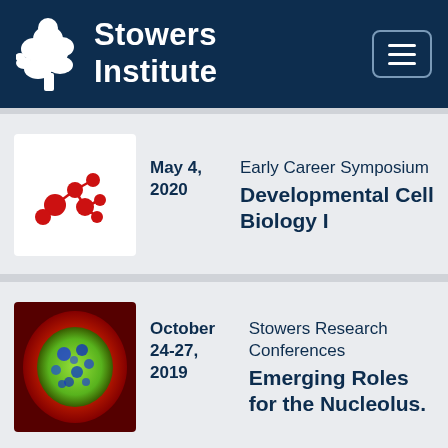[Figure (logo): Stowers Institute logo with white tree/bonsai icon and white text reading 'Stowers Institute' on dark navy background, with a hamburger menu button in top right]
[Figure (illustration): Red molecular/network node diagram on white background - connected red circles of varying sizes forming a network graph]
May 4, 2020
Early Career Symposium
Developmental Cell Biology I
[Figure (photo): Fluorescence microscopy image showing a cell nucleus with green and blue spots on a red/orange background - likely nucleolus imaging]
October 24-27, 2019
Stowers Research Conferences
Emerging Roles for the Nucleolus.